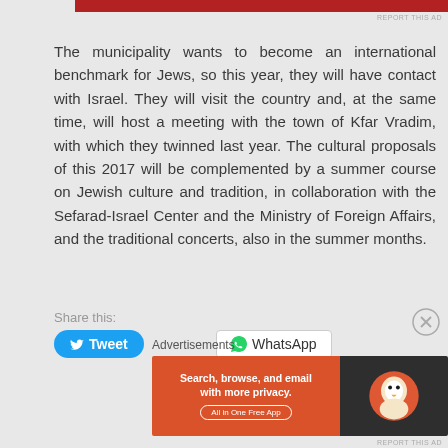REPORT THIS AD
The municipality wants to become an international benchmark for Jews, so this year, they will have contact with Israel. They will visit the country and, at the same time, will host a meeting with the town of Kfar Vradim, with which they twinned last year. The cultural proposals of this 2017 will be complemented by a summer course on Jewish culture and tradition, in collaboration with the Sefarad-Israel Center and the Ministry of Foreign Affairs, and the traditional concerts, also in the summer months.
Share this:
Tweet
WhatsApp
Advertisements
[Figure (other): DuckDuckGo advertisement banner: Search, browse, and email with more privacy. All in One Free App]
REPORT THIS AD